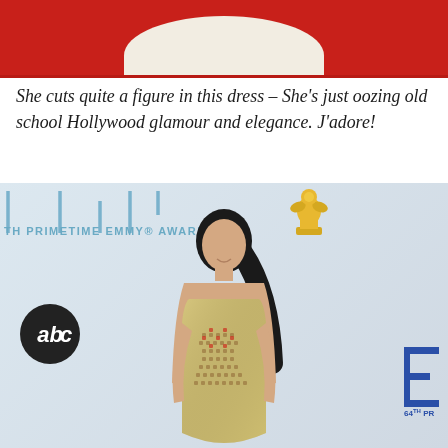[Figure (photo): Top portion of a red carpet photo showing the bottom of a white/cream dress against a red carpet background]
She cuts quite a figure in this dress – She's just oozing old school Hollywood glamour and elegance. J'adore!
[Figure (photo): Woman in a silver/gold strapless sequined mini dress posing at the 64th Primetime Emmy Awards red carpet, with ABC logo and Emmy statuette visible in the background]